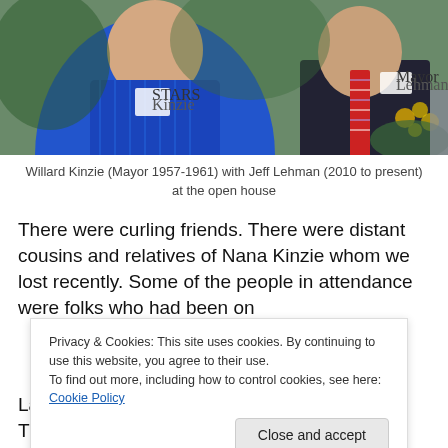[Figure (photo): Two men standing together outdoors. On the left, an older man in a blue striped polo shirt with a name tag. On the right, a man in a dark suit with a striped tie and a name tag. Yellow flowers visible in the background on the right.]
Willard Kinzie (Mayor 1957-1961) with Jeff Lehman (2010 to present) at the open house
There were curling friends. There were distant cousins and relatives of Nana Kinzie whom we lost recently. Some of the people in attendance were folks who had been on
Privacy & Cookies: This site uses cookies. By continuing to use this website, you agree to their use.
To find out more, including how to control cookies, see here: Cookie Policy
Close and accept
Late in the day we had a private family dinner. There was a